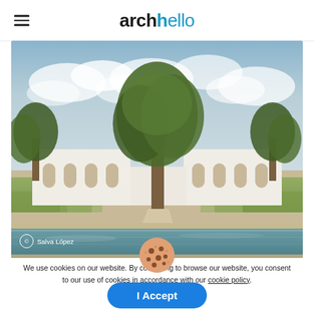archello
[Figure (photo): Exterior architectural photo of a white Mediterranean-style building with arched windows, surrounded by olive trees and lush greenery, with a swimming pool in the foreground reflecting the sky. Copyright: Salva López.]
© Salva López
[Figure (illustration): Cookie icon: a round tan-colored cookie with dark spots/chips on it.]
We use cookies on our website. By continuing to browse our website, you consent to our use of cookies in accordance with our cookie policy.
I Accept